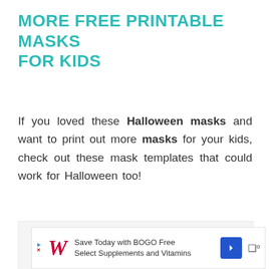MORE FREE PRINTABLE MASKS FOR KIDS
If you loved these Halloween masks and want to print out more masks for your kids, check out these mask templates that could work for Halloween too!
[Figure (other): Advertisement banner for Walgreens: Save Today with BOGO Free Select Supplements and Vitamins]